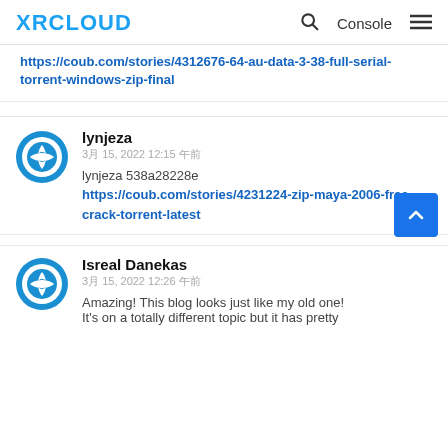XRCLOUD | Console
https://coub.com/stories/4312676-64-au-data-3-38-full-serial-torrent-windows-zip-final
lynjeza
3月 15, 2022 12:15 午前
lynjeza 538a28228e
https://coub.com/stories/4231224-zip-maya-2006-free-crack-torrent-latest
Isreal Danekas
3月 15, 2022 12:26 午前
Amazing! This blog looks just like my old one! It's on a totally different topic but it has pretty